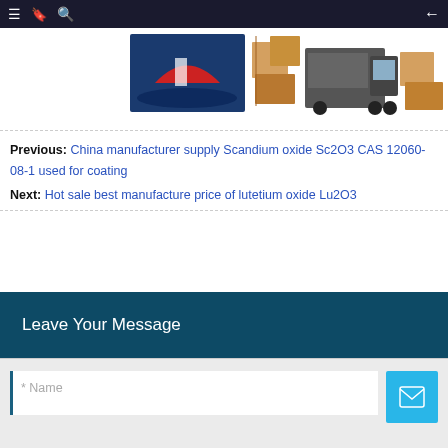Navigation bar with menu, bookmark, search icons and back arrow
[Figure (photo): Horizontal strip of product/shipping images: a boat on water, stacked cardboard boxes, a truck, and more boxes against a white background]
Previous: China manufacturer supply Scandium oxide Sc2O3 CAS 12060-08-1 used for coating
Next: Hot sale best manufacture price of lutetium oxide Lu2O3
Leave Your Message
* Name